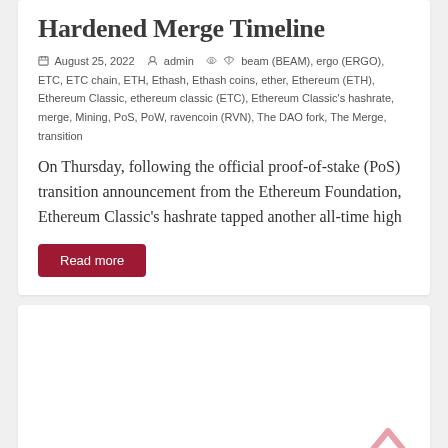Hardened Merge Timeline
August 25, 2022 · admin · beam (BEAM), ergo (ERGO), ETC, ETC chain, ETH, Ethash, Ethash coins, ether, Ethereum (ETH), Ethereum Classic, ethereum classic (ETC), Ethereum Classic's hashrate, merge, Mining, PoS, PoW, ravencoin (RVN), The DAO fork, The Merge, transition
On Thursday, following the official proof-of-stake (PoS) transition announcement from the Ethereum Foundation, Ethereum Classic's hashrate tapped another all-time high
Read more